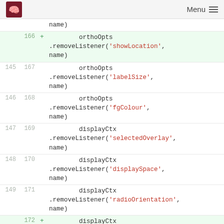Menu
name)
166 + orthoOpts.removeListener('showLocation', name)
145 167 orthoOpts.removeListener('labelSize', name)
146 168 orthoOpts.removeListener('fgColour', name)
147 169 displayCtx.removeListener('selectedOverlay', name)
148 170 displayCtx.removeListener('displaySpace', name)
149 171 displayCtx.removeListener('radioOrientation', name)
172 + displayCtx